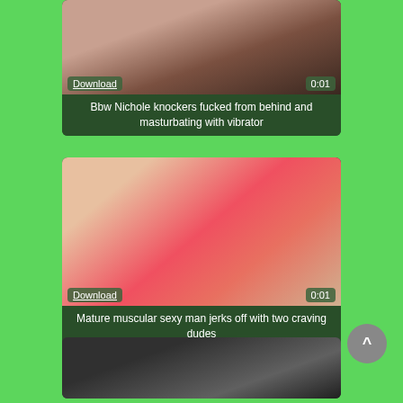[Figure (screenshot): Video thumbnail card 1: skin-toned image with Download button and 0:01 duration badge]
Bbw Nichole knockers fucked from behind and masturbating with vibrator
[Figure (screenshot): Video thumbnail card 2: pink underwear close-up with blue nails, Download button and 0:01 duration badge]
Mature muscular sexy man jerks off with two craving dudes
[Figure (screenshot): Video thumbnail card 3: dark partial image at bottom of page]